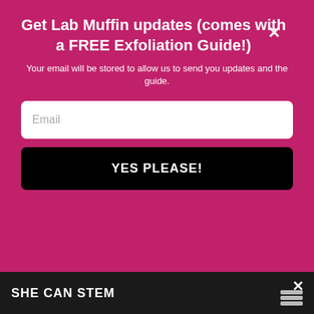Get Lab Muffin updates (comes with a FREE Exfoliation Guide!)
Your email will be stored to allow us to send you updates and the guide.
Email
YES PLEASE!
If you're basically sitting in the window and there's nothing outside your window but the sky, you're getting 50% sky view, so you're receiving roughly half of the diffuse component of UV.²
If you're further back from the window, then the portion of your dome that's sky is smaller – this
SHE CAN STEM